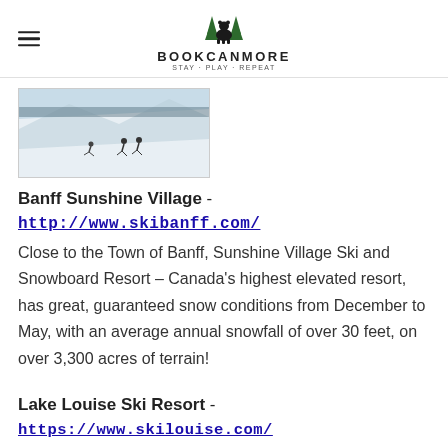BOOKCANMORE — STAY. PLAY. REPEAT.
[Figure (photo): Aerial or slope view of skiers on a snow-covered mountain at Banff Sunshine Village]
Banff Sunshine Village -
http://www.skibanff.com/
Close to the Town of Banff, Sunshine Village Ski and Snowboard Resort – Canada's highest elevated resort, has great, guaranteed snow conditions from December to May, with an average annual snowfall of over 30 feet, on over 3,300 acres of terrain!
Lake Louise Ski Resort -
https://www.skilouise.com/